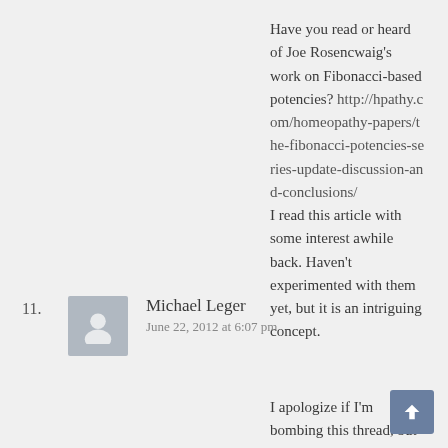Have you read or heard of Joe Rosencwaig's work on Fibonacci-based potencies? http://hpathy.com/homeopathy-papers/the-fibonacci-potencies-series-update-discussion-and-conclusions/ I read this article with some interest awhile back. Haven't experimented with them yet, but it is an intriguing concept.
11. Michael Leger — June 22, 2012 at 6:07 pm
I apologize if I'm bombing this thread, but here's something else